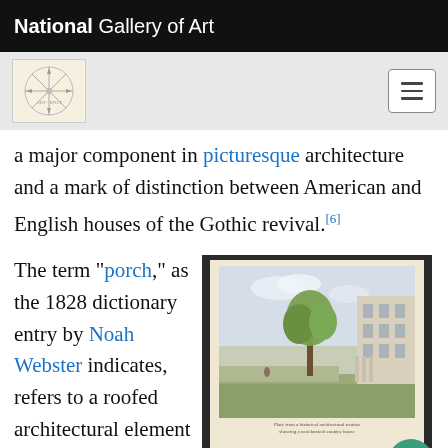National Gallery of Art
a major component in picturesque architecture and a mark of distinction between American and English houses of the Gothic revival.[6]
The term "porch," as the 1828 dictionary entry by Noah Webster indicates, refers to a roofed architectural element often
[Figure (photo): An open book showing a watercolor or engraving illustration of a neoclassical house with a large tree in the foreground and a landscape background, with a small caption beneath the illustration.]